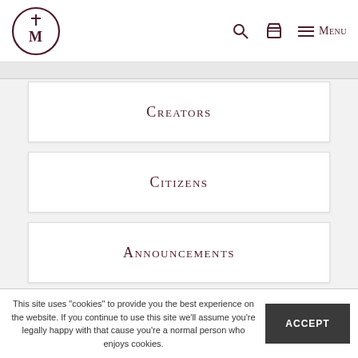Logo | Search | Cart | Menu
Creators
Citizens
Announcements
Additional
This site uses "cookies" to provide you the best experience on the website. If you continue to use this site we'll assume you're legally happy with that cause you're a normal person who enjoys cookies.